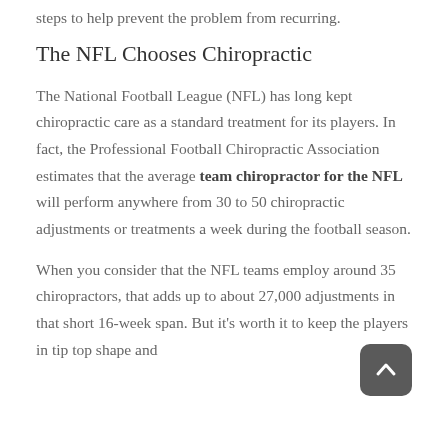steps to help prevent the problem from recurring.
The NFL Chooses Chiropractic
The National Football League (NFL) has long kept chiropractic care as a standard treatment for its players. In fact, the Professional Football Chiropractic Association estimates that the average team chiropractor for the NFL will perform anywhere from 30 to 50 chiropractic adjustments or treatments a week during the football season.
When you consider that the NFL teams employ around 35 chiropractors, that adds up to about 27,000 adjustments in that short 16-week span. But it's worth it to keep the players in tip top shape and